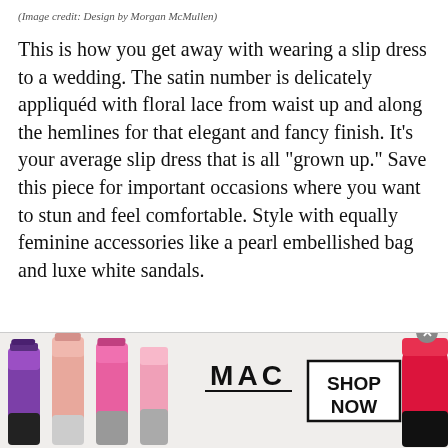(Image credit: Design by Morgan McMullen)
This is how you get away with wearing a slip dress to a wedding. The satin number is delicately appliquéd with floral lace from waist up and along the hemlines for that elegant and fancy finish. It's your average slip dress that is all "grown up." Save this piece for important occasions where you want to stun and feel comfortable. Style with equally feminine accessories like a pearl embellished bag and luxe white sandals.
[Figure (photo): MAC cosmetics advertisement banner showing multiple lipsticks in purple, pink and red shades with the MAC logo and SHOP NOW button]